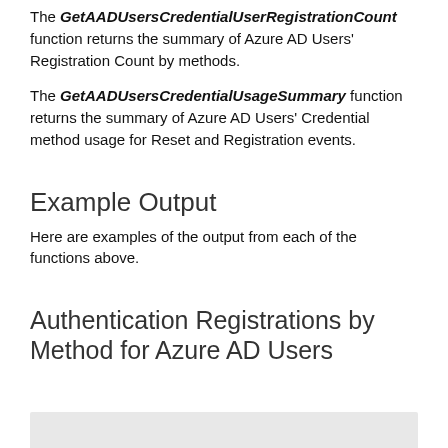The GetAADUsersCredentialUserRegistrationCount function returns the summary of Azure AD Users' Registration Count by methods.
The GetAADUsersCredentialUsageSummary function returns the summary of Azure AD Users' Credential method usage for Reset and Registration events.
Example Output
Here are examples of the output from each of the functions above.
Authentication Registrations by Method for Azure AD Users